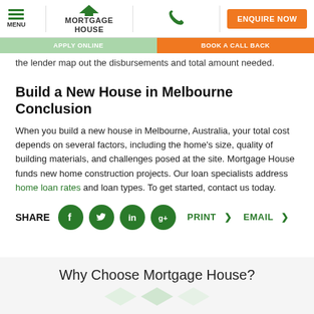MENU | MORTGAGE HOUSE | [phone icon] | ENQUIRE NOW | APPLY ONLINE | BOOK A CALL BACK
the lender map out the disbursements and total amount needed.
Build a New House in Melbourne Conclusion
When you build a new house in Melbourne, Australia, your total cost depends on several factors, including the home's size, quality of building materials, and challenges posed at the site. Mortgage House funds new home construction projects. Our loan specialists address home loan rates and loan types. To get started, contact us today.
SHARE [Facebook] [Twitter] [LinkedIn] [Google+] PRINT > EMAIL >
Why Choose Mortgage House?